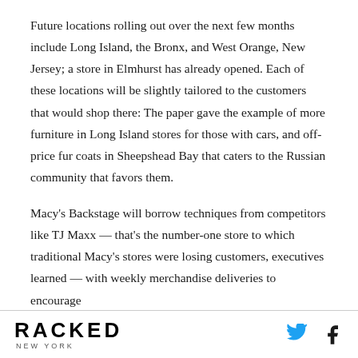Future locations rolling out over the next few months include Long Island, the Bronx, and West Orange, New Jersey; a store in Elmhurst has already opened. Each of these locations will be slightly tailored to the customers that would shop there: The paper gave the example of more furniture in Long Island stores for those with cars, and off-price fur coats in Sheepshead Bay that caters to the Russian community that favors them.
Macy's Backstage will borrow techniques from competitors like TJ Maxx — that's the number-one store to which traditional Macy's stores were losing customers, executives learned — with weekly merchandise deliveries to encourage
RACKED NEW YORK